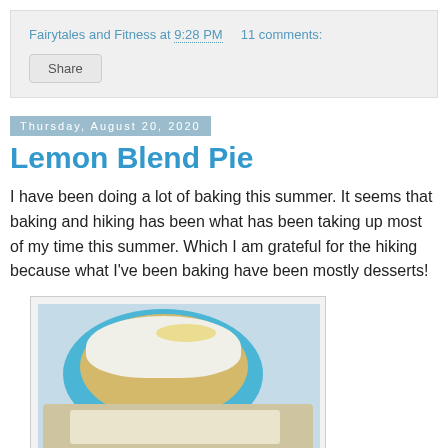Fairytales and Fitness at 9:28 PM   11 comments:
Share
Thursday, August 20, 2020
Lemon Blend Pie
I have been doing a lot of baking this summer. It seems that baking and hiking has been what has been taking up most of my time this summer. Which I am grateful for the hiking because what I've been baking have been mostly desserts!
[Figure (photo): A lemon blend pie with whipped topping on a blue plate, with a slice visible in the foreground]